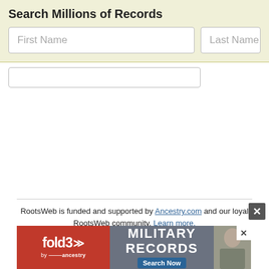Search Millions of Records
[Figure (screenshot): Search form with First Name and Last Name input fields on a light yellow-green background]
RootsWeb is funded and supported by Ancestry.com and our loyal RootsWeb community. Learn more.
About Us | Contact Us | Rootsweb Blog | Copyright
© 1997-2022 Ancestry  Corporate Information  Privacy  Terms and Conditions  CCPA Notice at Collection
[Figure (screenshot): fold3 Military Records advertisement banner with Search Now button and soldier photo]